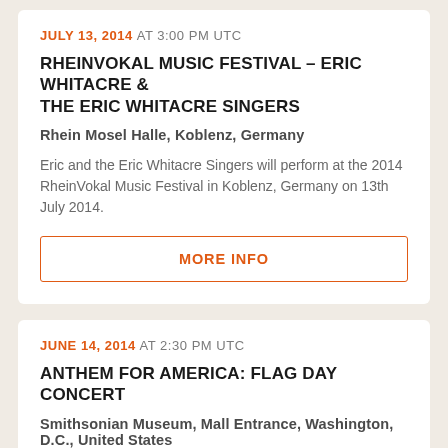JULY 13, 2014 AT 3:00 PM UTC
RHEINVOKAL MUSIC FESTIVAL – ERIC WHITACRE & THE ERIC WHITACRE SINGERS
Rhein Mosel Halle, Koblenz, Germany
Eric and the Eric Whitacre Singers will perform at the 2014 RheinVokal Music Festival in Koblenz, Germany on 13th July 2014.
MORE INFO
JUNE 14, 2014 AT 2:30 PM UTC
ANTHEM FOR AMERICA: FLAG DAY CONCERT
Smithsonian Museum, Mall Entrance, Washington, D.C., United States